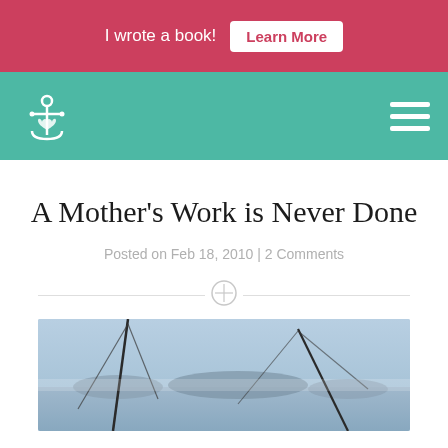I wrote a book! Learn More
[Figure (logo): Navigation bar with anchor-heart logo on teal background and hamburger menu icon]
A Mother’s Work is Never Done
Posted on Feb 18, 2010 | 2 Comments
[Figure (photo): Sailing boat mast and rigging with ocean and hilly islands in the background under hazy blue sky]